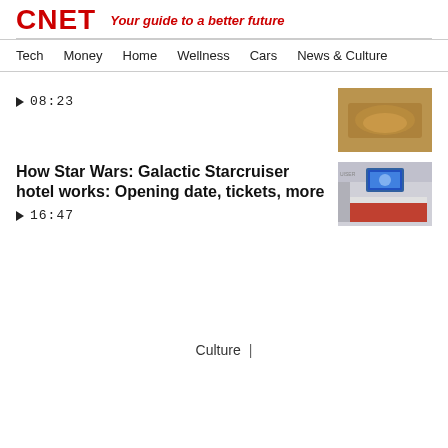CNET — Your guide to a better future
Tech  Money  Home  Wellness  Cars  News & Culture
▶ 08:23
How Star Wars: Galactic Starcruiser hotel works: Opening date, tickets, more
▶ 16:47
Culture  |